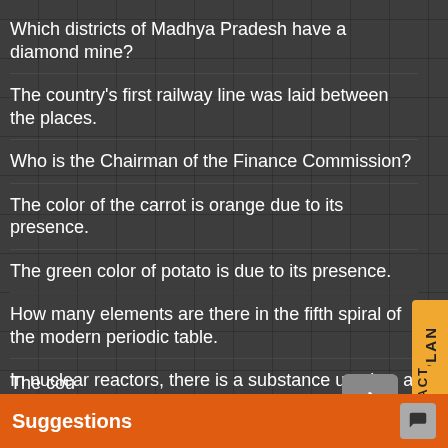Which districts of Madhya Pradesh have a diamond mine?
The country's first railway line was laid between the places.
Who is the Chairman of the Finance Commission?
The color of the carrot is orange due to its presence.
The green color of potato is due to its presence.
How many elements are there in the fifth spiral of the modern periodic table.
In nuclear reactors, there is a substance used as a vitiligo.
Which was the main polluter responsible for the Bhopal gas tragedy.
In children, the bones of the organisms become deficient.
Nilean is formed.
The cou
Suggestions